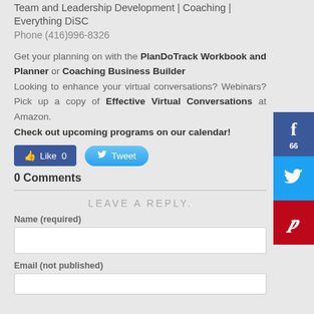Team and Leadership Development | Coaching | Everything DiSC
Phone (416)996-8326
Get your planning on with the PlanDoTrack Workbook and Planner or Coaching Business Builder
Looking to enhance your virtual conversations? Webinars? Pick up a copy of Effective Virtual Conversations at Amazon.
Check out upcoming programs on our calendar!
[Figure (screenshot): Social media share buttons: Facebook Like (0), Tweet button in inline row; Facebook share (66), Twitter share, Pinterest share in sidebar]
0 Comments
LEAVE A REPLY.
Name (required)
Email (not published)